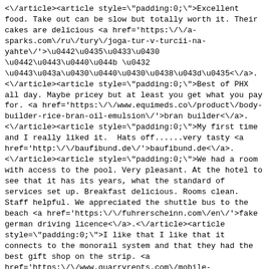<\/article><article style="padding:0;">Excellent food. Take out can be slow but totally worth it. Their cakes are delicious <a href='https:\/\/a-sparks.com\/ru\/tury\/joga-tur-v-turcii-na-yahte\/'>тега туры в укараине<\/a>. <\/article><article style="padding:0;">Best of PHX all day. Maybe pricey but at least you get what you pay for. <a href='https:\/\/www.equimeds.co\/product\/body-builder-rice-bran-oil-emulsion\/'>bran builder<\/a>. <\/article><article style="padding:0;">My first time and I really liked it.  Hats off......very tasty <a href='http:\/\/baufibund.de\/'>baufibund.de<\/a>. <\/article><article style="padding:0;">We had a room with access to the pool. Very pleasant. At the hotel to see that it has its years, what the standard of services set up. Breakfast delicious. Rooms clean. Staff helpful. We appreciated the shuttle bus to the beach <a href='https:\/\/fuhrerscheinn.com\/en\/'>fake german driving licence<\/a>.<\/article><article style="padding:0;">I like that I like that it connects to the monorail system and that they had the best gift shop on the strip. <a href='https:\/\/www.quarryrents.com\/mobile-office\/los-angeles\/'>mobile office trailer los angeles<\/a>.<\/article><article style="padding:0;">Kevin and Gage were awesome!  We had our downstairs unit replaced and everything went flawlessly.  Great guys and very professional! <a